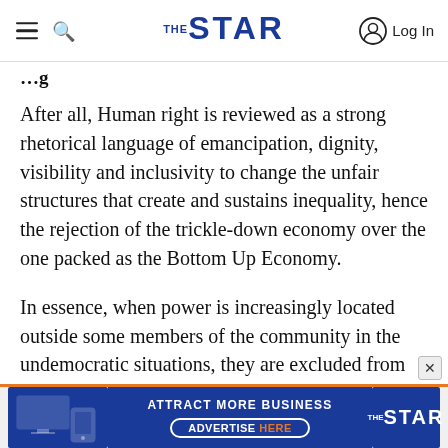THE STAR — navigation header with logo, hamburger menu, search, and Log In
After all, Human right is reviewed as a strong rhetorical language of emancipation, dignity, visibility and inclusivity to change the unfair structures that create and sustains inequality, hence the rejection of the trickle-down economy over the one packed as the Bottom Up Economy.
In essence, when power is increasingly located outside some members of the community in the undemocratic situations, they are excluded from the language of governance and development and
[Figure (screenshot): Advertisement banner for The Star newspaper: navy blue background with device mockups on left, 'ATTRACT MORE BUSINESS' text, 'ADVERTISE HERE' button with orange text, and The Star logo on right. Orange border on top.]